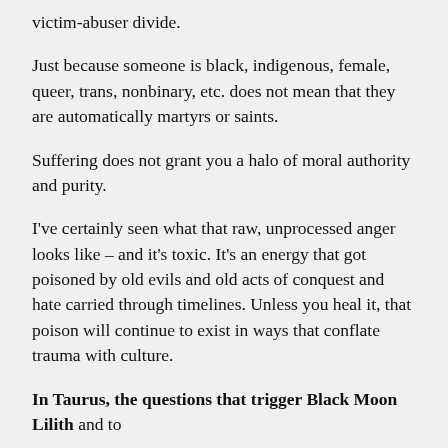victim-abuser divide.
Just because someone is black, indigenous, female, queer, trans, nonbinary, etc. does not mean that they are automatically martyrs or saints.
Suffering does not grant you a halo of moral authority and purity.
I've certainly seen what that raw, unprocessed anger looks like – and it's toxic. It's an energy that got poisoned by old evils and old acts of conquest and hate carried through timelines. Unless you heal it, that poison will continue to exist in ways that conflate trauma with culture.
In Taurus, the questions that trigger Black Moon Lilith and to...